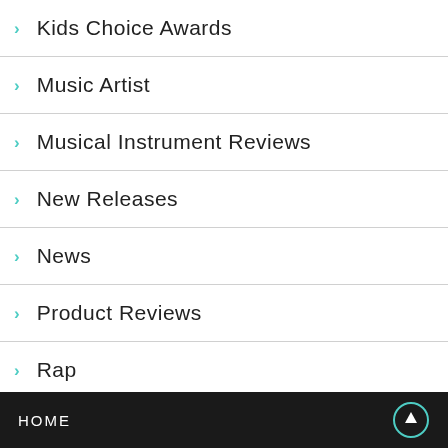Kids Choice Awards
Music Artist
Musical Instrument Reviews
New Releases
News
Product Reviews
Rap
Reviews
Tips
Top Charts
Video Music Awards
HOME